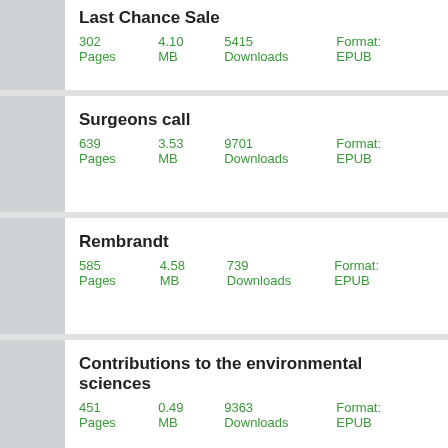Last Chance Sale — 302 Pages, 4.10 MB, 5415 Downloads, Format: EPUB
Surgeons call — 639 Pages, 3.53 MB, 9701 Downloads, Format: EPUB
Rembrandt — 585 Pages, 4.58 MB, 739 Downloads, Format: EPUB
Contributions to the environmental sciences — 451 Pages, 0.49 MB, 9363 Downloads, Format: EPUB